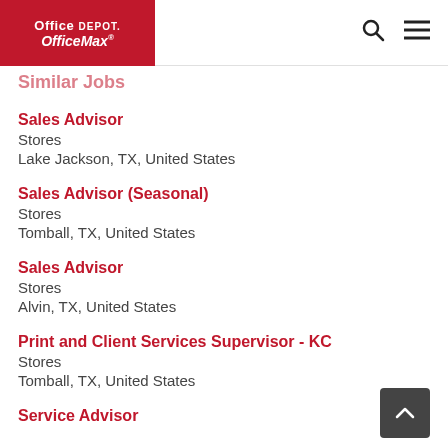Office Depot OfficeMax
Similar Jobs
Sales Advisor
Stores
Lake Jackson, TX, United States
Sales Advisor (Seasonal)
Stores
Tomball, TX, United States
Sales Advisor
Stores
Alvin, TX, United States
Print and Client Services Supervisor - KC
Stores
Tomball, TX, United States
Service Advisor